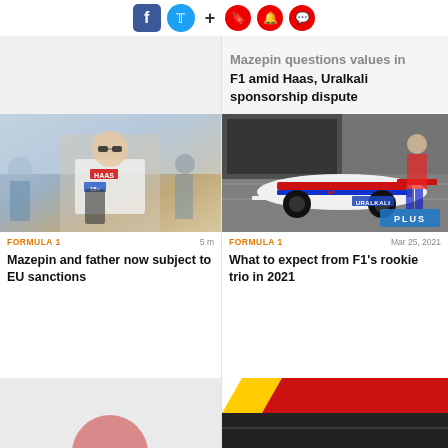[Figure (screenshot): Social media sharing bar with Facebook, Twitter icons, plus sign, and three red circular icons (bookmark, notification, comment)]
Mazepin questions values in F1 amid Haas, Uralkali sponsorship dispute
[Figure (photo): Nikita Mazepin walking in paddock wearing Haas team polo shirt with sunglasses]
[Figure (photo): Haas F1 car with Uralkali livery in pit lane, PLUS badge overlay]
FORMULA 1
5 m
FORMULA 1
Mar 25, 2021
Mazepin and father now subject to EU sanctions
What to expect from F1's rookie trio in 2021
[Figure (photo): Bottom left partial card with light grey background and faint red circle element]
[Figure (photo): Bottom right partial card showing colorful racing track stripes (red, yellow, white) on dark background]